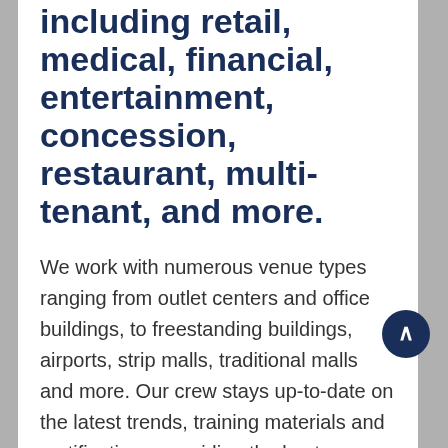including retail, medical, financial, entertainment, concession, restaurant, multi-tenant, and more.
We work with numerous venue types ranging from outlet centers and office buildings, to freestanding buildings, airports, strip malls, traditional malls and more. Our crew stays up-to-date on the latest trends, training materials and certifications, providing the best, modern looking space each build.